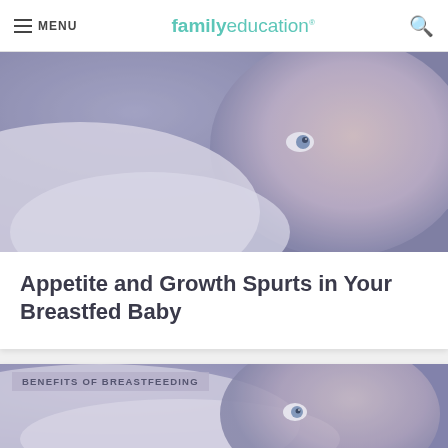MENU | familyeducation
[Figure (photo): Close-up photo of a breastfeeding baby with blue eyes looking up, soft purple-blue tint overlay]
Appetite and Growth Spurts in Your Breastfed Baby
BENEFITS OF BREASTFEEDING
[Figure (photo): Close-up photo of a baby breastfeeding, soft purple-blue tint overlay, partially cropped at bottom of page]